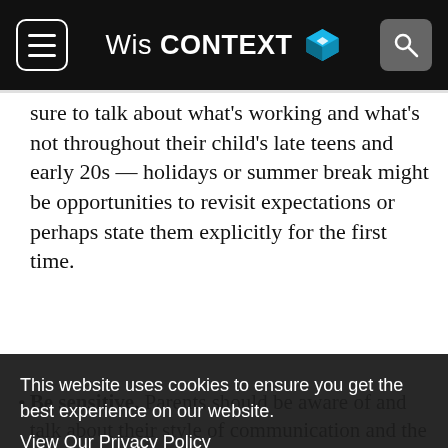WisCONTEXT
sure to talk about what's working and what's not throughout their child's late teens and early 20s — holidays or summer break might be opportunities to revisit expectations or perhaps state them explicitly for the first time.
Be sensitive. Parents should be aware of and talk about their style of communication and the child's preferred … adult … might preface many phone calls with the phrase "I talk faster than I type." And he
This website uses cookies to ensure you get the best experience on our website.
View Our Privacy Policy
Got it!